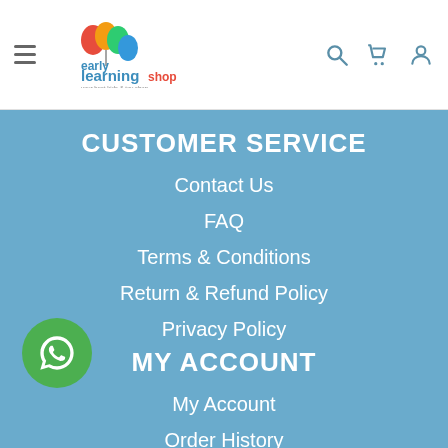Early Learning Shop — navigation header with hamburger menu, logo, search, cart, and account icons
CUSTOMER SERVICE
Contact Us
FAQ
Terms & Conditions
Return & Refund Policy
Privacy Policy
MY ACCOUNT
My Account
Order History
Wish List
Receipt Upload
BLOG